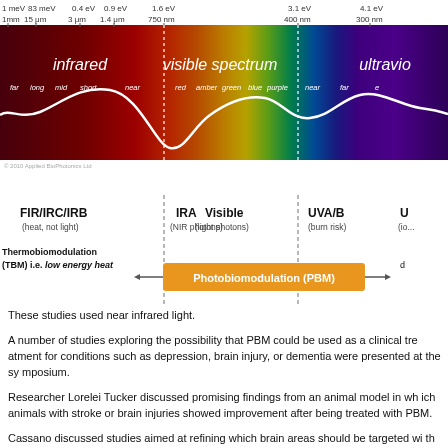[Figure (infographic): Electromagnetic spectrum diagram showing infrared, visible spectrum, and ultraviolet bands with wavelengths and energy labels (1 meV to 4.1 eV, 1mm to 300nm). A white wave curve runs across showing intensity. Sub-bands labeled: far, long, mid, short, near (infrared); red, amber, green, blue, purple (visible); near, far (UV). Copyright 2010 Applied BioPhotonics Ltd.]
[Figure (infographic): Spectrum classification diagram below the main spectrum image showing: FIR/IRC/IRB (heat, not light), IRA (NIR photons), Visible (light photons), UVA/B (burn risk), U... with vertical dashed dividers. Orange box labeled Photobiomodulation (PBM) with arrows, and Thermobiomodulation (TBM) i.e. low energy heat label on the left.]
These studies used near infrared light.
A number of studies exploring the possibility that PBM could be used as a clinical treatment for conditions such as depression, brain injury, or dementia were presented at the symposium.
Researcher Lorelei Tucker discussed promising findings from an animal model in which animals with stroke or brain injuries showed improvement after being treated with PBM.
Cassano discussed studies aimed at refining which brain areas should be targeted with PBM and how much light should be delivered in order to improve depression. In double-blind...